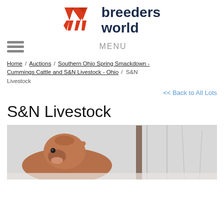[Figure (logo): Breeders World logo with red double-W chevron icon and dark navy bold text 'breeders world']
MENU
Home / Auctions / Southern Ohio Spring Smackdown - Cummings Cattle and S&N Livestock - Ohio / S&N Livestock
<< Back to All Lots
S&N Livestock
[Figure (photo): Photo of a brown/red cow facing the camera with a fence post visible in the background and bare trees, wintery outdoor setting]